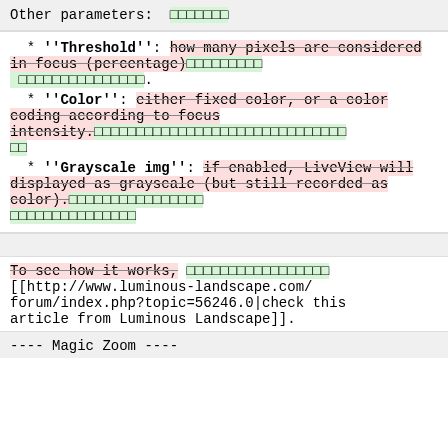Other parameters: [green squares]
* ''Threshold'': [strikethrough: how many pixels are considered in focus (percentage)] [green squares] [green squares].
* ''Color'': [strikethrough: either fixed color, or a color coding according to focus intensity.] [green squares]
* ''Grayscale img'': [strikethrough: if enabled, LiveView will displayed as grayscale (but still recorded as color).] [green squares]
[strikethrough: To see how it works,] [green squares] [[http://www.luminous-landscape.com/forum/index.php?topic=56246.0|check this article from Luminous Landscape]].
---- Magic Zoom ----